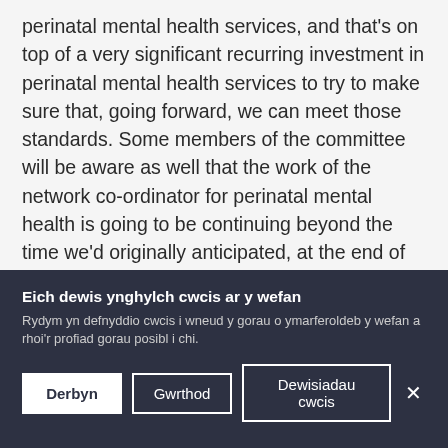perinatal mental health services, and that's on top of a very significant recurring investment in perinatal mental health services to try to make sure that, going forward, we can meet those standards. Some members of the committee will be aware as well that the work of the network co-ordinator for perinatal mental health is going to be continuing beyond the time we'd originally anticipated, at the end of this financial year, in order to ensure that that work can be consolidated and completed. And obviously we've also now got our mother and baby unit open in Tonna, which is absolutely wonderful to have. And work is continuing on provision for north Wales
Eich dewis ynghylch cwcis ar y wefan
Rydym yn defnyddio cwcis i wneud y gorau o ymarferoldeb y wefan a rhoi'r profiad gorau posibl i chi.
Derbyn
Gwrthod
Dewisiadau cwcis